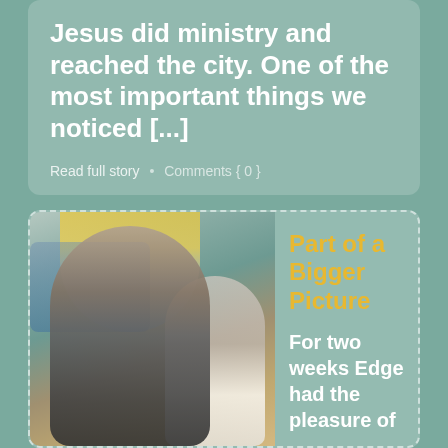Jesus did ministry and reached the city. One of the most important things we noticed [...]
Read full story  •  Comments { 0 }
Part of a Bigger Picture
For two weeks Edge had the pleasure of
[Figure (photo): Two people posing in front of a colorful mural depicting a city scene. A smiling young woman in a dark tank top is in the foreground, and a man in a white t-shirt is behind her.]